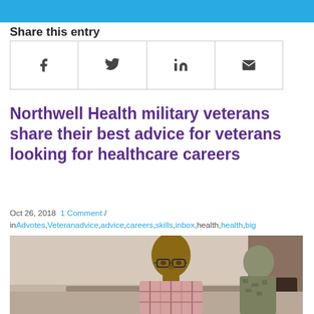[Figure (other): Blue decorative header bar]
Share this entry
[Figure (infographic): Social share buttons grid with Facebook (f), Twitter (bird), LinkedIn (in), and Email (envelope) icons]
Northwell Health military veterans share their best advice for veterans looking for healthcare careers
Oct 26, 2018  1 Comment / in Advotes, Veteranadvice, advice, careers, skills, inbox, health, health, big
[Figure (photo): Photo of a bald man with glasses wearing a plaid shirt, seated at a table, with another person in military attire visible to the right]